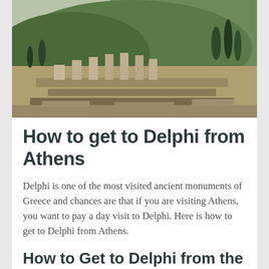[Figure (photo): Ancient Greek ruins at Delphi — stone column bases and partial columns on terraced hillside, with tall cypress trees and lush green mountainside in the background under a pale sky.]
How to get to Delphi from Athens
Delphi is one of the most visited ancient monuments of Greece and chances are that if you are visiting Athens, you want to pay a day visit to Delphi. Here is how to get to Delphi from Athens.
How to Get to Delphi from the